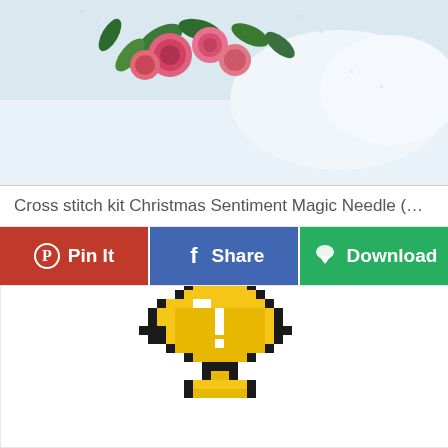[Figure (photo): Cross stitch embroidery image showing Christmas floral arrangement with pink roses, green leaves and white snow-like background on light blue fabric]
Cross stitch kit Christmas Sentiment Magic Needle (Ch...
[Figure (infographic): Action buttons bar with three buttons: Pin It (red, Pinterest icon), Share (blue, Facebook icon), Download (green, download icon)]
[Figure (illustration): Pixel art style golden trophy cup with black outline, white highlight details, on white background]